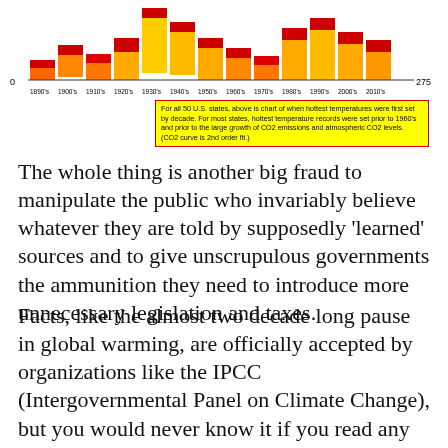[Figure (bar-chart): When hottest temperatures were first set by decade for all 50 US states]
For all 50 U.S. states, above is chart of when hottest temperatures were first set by decade. For most states, hottest temperature records were set prior to 1960's and prior to the large growth of CO2 emissions and atmospheric CO2 levels. (CO2 curve is 2nd order fit.)
The whole thing is another big fraud to manipulate the public who invariably believe whatever they are told by supposedly 'learned' sources and to give unscrupulous governments the ammunition they need to introduce more unnecessary legislation and taxes.
Facts, like the almost two decade long pause in global warming, are officially accepted by organizations like the IPCC (Intergovernmental Panel on Climate Change), but you would never know it if you read any of their reports because this type of information is buried so deep